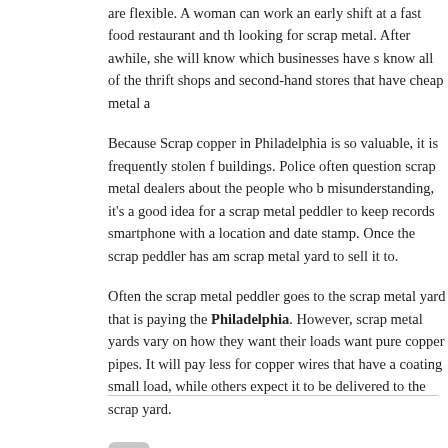are flexible. A woman can work an early shift at a fast food restaurant and then go looking for scrap metal. After awhile, she will know which businesses have scrap and know all of the thrift shops and second-hand stores that have cheap metal available.
Because Scrap copper in Philadelphia is so valuable, it is frequently stolen from buildings. Police often question scrap metal dealers about the people who bring in metals. To avoid misunderstanding, it's a good idea for a scrap metal peddler to keep records of finds, such as a photo from a smartphone with a location and date stamp. Once the scrap peddler has amassed a load, she can find a scrap metal yard to sell it to.
Often the scrap metal peddler goes to the scrap metal yard that is paying the best price for scrap copper in Philadelphia. However, scrap metal yards vary on how they want their loads. Some yards only want pure copper pipes. It will pay less for copper wires that have a coating on them. Some yards will pick up a small load, while others expect it to be delivered to the scrap yard.
[Figure (other): Thumbs up / like button icon (gray rounded square with thumbs up symbol)]
Be the first to like.
Like
Add to favorites